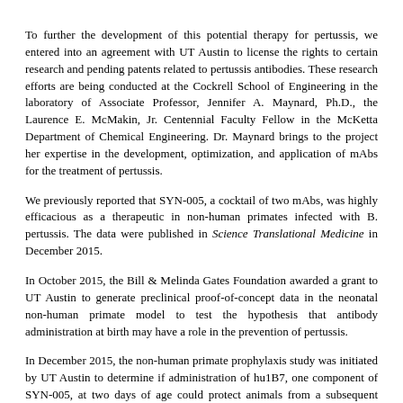To further the development of this potential therapy for pertussis, we entered into an agreement with UT Austin to license the rights to certain research and pending patents related to pertussis antibodies. These research efforts are being conducted at the Cockrell School of Engineering in the laboratory of Associate Professor, Jennifer A. Maynard, Ph.D., the Laurence E. McMakin, Jr. Centennial Faculty Fellow in the McKetta Department of Chemical Engineering. Dr. Maynard brings to the project her expertise in the development, optimization, and application of mAbs for the treatment of pertussis.
We previously reported that SYN-005, a cocktail of two mAbs, was highly efficacious as a therapeutic in non-human primates infected with B. pertussis. The data were published in Science Translational Medicine in December 2015.
In October 2015, the Bill & Melinda Gates Foundation awarded a grant to UT Austin to generate preclinical proof-of-concept data in the neonatal non-human primate model to test the hypothesis that antibody administration at birth may have a role in the prevention of pertussis.
In December 2015, the non-human primate prophylaxis study was initiated by UT Austin to determine if administration of hu1B7, one component of SYN-005, at two days of age could protect animals from a subsequent pertussis infection. On April 19, 2017, we announced supportive preclinical data demonstrating hu1B7 provided five weeks of protection from pertussis in neonatal non-human primates. Control animals (n=6), infected with Bordetella pertussis (B. pertussis) at five weeks of age, demonstrated the hallmark signs attributed to all...